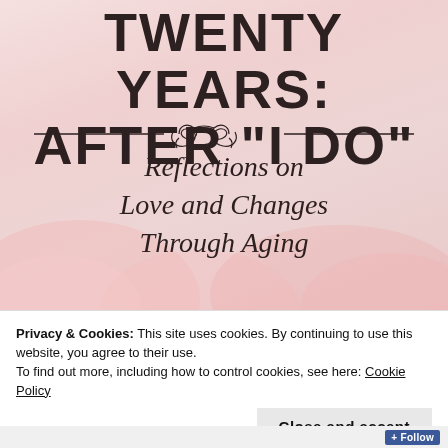[Figure (illustration): Book cover with pinkish-rose gradient background and soft floral elements at the bottom. Features title 'TWENTY YEARS: AFTER "I DO"' in bold black serif capitals, decorative scroll divider, and italic subtitle 'Reflections on Love and Changes Through Aging'.]
Privacy & Cookies: This site uses cookies. By continuing to use this website, you agree to their use.
To find out more, including how to control cookies, see here: Cookie Policy
Close and accept